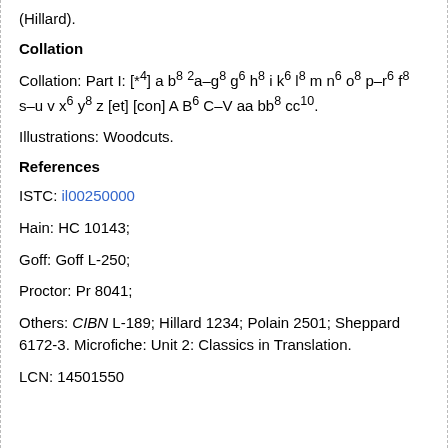(Hillard).
Collation
Collation: Part I: [*4] a b8 2a–g8 g6 h8 i k6 l8 m n6 o8 p–r6 f8 s–u v x6 y8 z [et] [con] A B6 C–V aa bb8 cc10.
Illustrations: Woodcuts.
References
ISTC: il00250000
Hain: HC 10143;
Goff: Goff L-250;
Proctor: Pr 8041;
Others: CIBN L-189; Hillard 1234; Polain 2501; Sheppard 6172-3. Microfiche: Unit 2: Classics in Translation.
LCN: 14501550